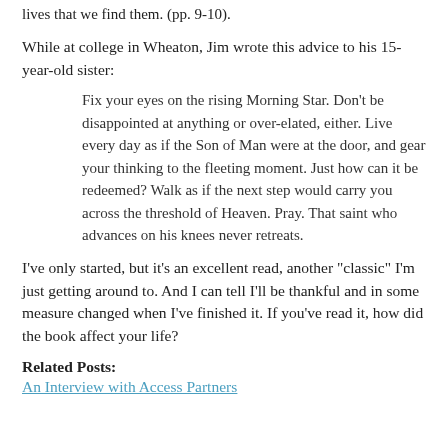lives that we find them. (pp. 9-10).
While at college in Wheaton, Jim wrote this advice to his 15-year-old sister:
Fix your eyes on the rising Morning Star. Don't be disappointed at anything or over-elated, either. Live every day as if the Son of Man were at the door, and gear your thinking to the fleeting moment. Just how can it be redeemed? Walk as if the next step would carry you across the threshold of Heaven. Pray. That saint who advances on his knees never retreats.
I've only started, but it's an excellent read, another "classic" I'm just getting around to. And I can tell I'll be thankful and in some measure changed when I've finished it. If you've read it, how did the book affect your life?
Related Posts:
An Interview with Access Partners